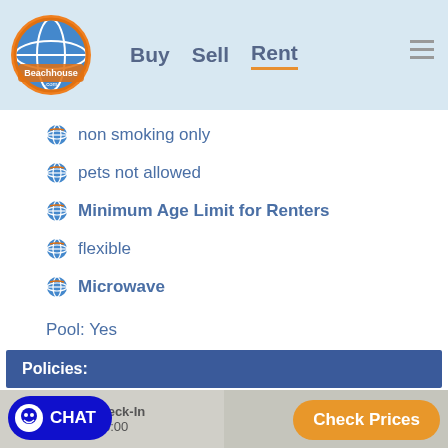Beachhouse.com — Buy  Sell  Rent
non smoking only
pets not allowed
Minimum Age Limit for Renters
flexible
Microwave
Pool: Yes
Policies:
Minimum Age Limit for Renters: 25
CHAT    Check-In  16:00    Check-Out  09:30    Check Prices